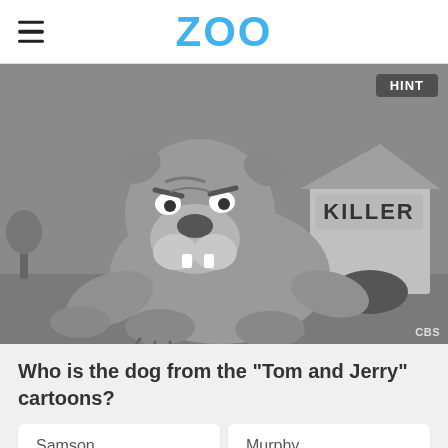ZOO
[Figure (illustration): Grayscale cartoon image of a large bulldog crouching menacingly in front of a dog house labeled 'KILLER'. The scene is from the Tom and Jerry cartoon series. CBS watermark visible in bottom right. A 'HINT' button appears in the top right corner of the image.]
Who is the dog from the "Tom and Jerry" cartoons?
Samson
Murphy